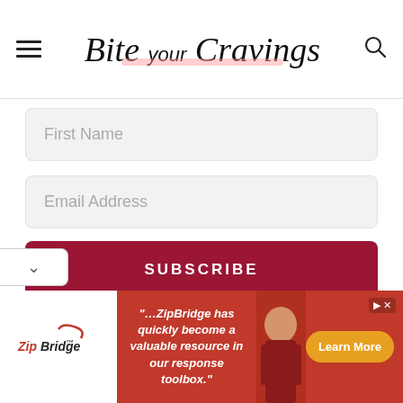Bite your Cravings
[Figure (screenshot): Email subscription form with First Name input, Email Address input, and SUBSCRIBE button]
We promise to never spam you. Unsubscribe at any time.
[Figure (infographic): ZipBridge advertisement banner: '...ZipBridge has quickly become a valuable resource in our response toolbox.' with Learn More button]